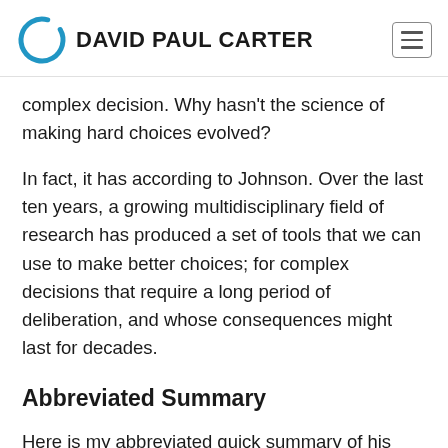DAVID PAUL CARTER
complex decision. Why hasn't the science of making hard choices evolved?
In fact, it has according to Johnson. Over the last ten years, a growing multidisciplinary field of research has produced a set of tools that we can use to make better choices; for complex decisions that require a long period of deliberation, and whose consequences might last for decades.
Abbreviated Summary
Here is my abbreviated quick summary of his process. Please check out the full article for the